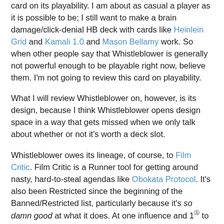card on its playability. I am about as casual a player as it is possible to be; I still want to make a brain damage/click-denial HB deck with cards like Heinlein Grid and Kamali 1.0 and Mason Bellamy work. So when other people say that Whistleblower is generally not powerful enough to be playable right now, believe them. I'm not going to review this card on playability.
What I will review Whistleblower on, however, is its design, because I think Whistleblower opens design space in a way that gets missed when we only talk about whether or not it's worth a deck slot.
Whistleblower owes its lineage, of course, to Film Critic. Film Critic is a Runner tool for getting around nasty, hard-to-steal agendas like Obokata Protocol. It's also been Restricted since the beginning of the Banned/Restricted list, particularly because it's so damn good at what it does. At one influence and 1[credit] to install, Film Critic is the gold standard tool for getting around defensive agendas. Whistleblower...